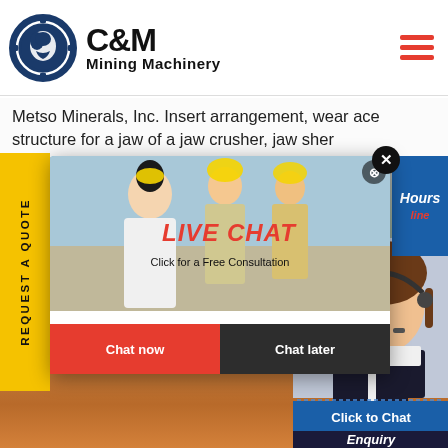C&M Mining Machinery
Metso Minerals, Inc. Insert arrangement, wear ace structure for a jaw of a jaw crusher, jaw sher
[Figure (screenshot): Live chat popup overlay with construction workers in background, Chat now and Chat later buttons]
[Figure (photo): Customer service representative with headset, Click to Chat button and Enquiry label below]
REQUEST A QUOTE
Hours line
Click to Chat
Enquiry